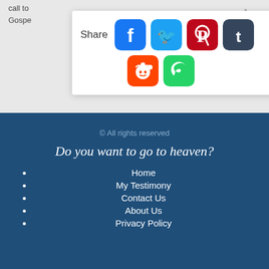call to
Gospe
[Figure (screenshot): Share popup with social media icons: Facebook (blue), Twitter (cyan/blue), Pinterest (red), Tumblr (dark blue/grey), Reddit (orange), WhatsApp (green)]
d More
© All rights reserved
Do you want to go to heaven?
Home
My Testimony
Contact Us
About Us
Privacy Policy